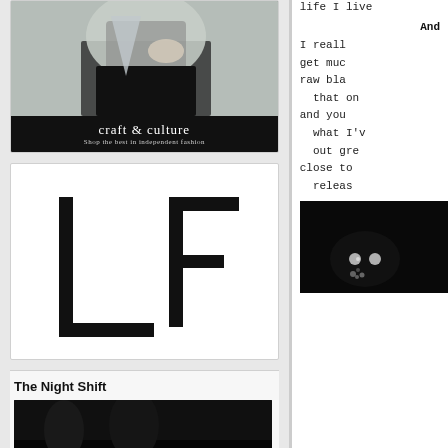[Figure (photo): Fashion photo of a person in dark clothes with a light denim shirt, partially cropped. Below the photo is a black bar with 'craft & culture' and subtitle 'Shop the best in independent fashion'.]
[Figure (logo): Large 'LF' logo in bold black letters on white background.]
The Night Shift
[Figure (photo): Dark night scene, partially visible at bottom of left column.]
life I live
And
I really get much raw bla that on and you what I'v out gre close to releas
[Figure (photo): Dark photo of a black cat with glowing eyes visible in the darkness.]